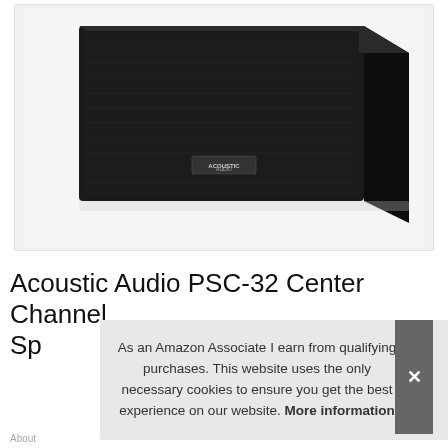[Figure (photo): Product photo of a black Acoustic Audio PSC-32 center channel speaker with fabric grille and wood veneer sides, shown at a slight angle on white background. Small brand logo visible on grille.]
Acoustic Audio PSC-32 Center Channel Sp... Au...
As an Amazon Associate I earn from qualifying purchases. This website uses the only necessary cookies to ensure you get the best experience on our website. More information